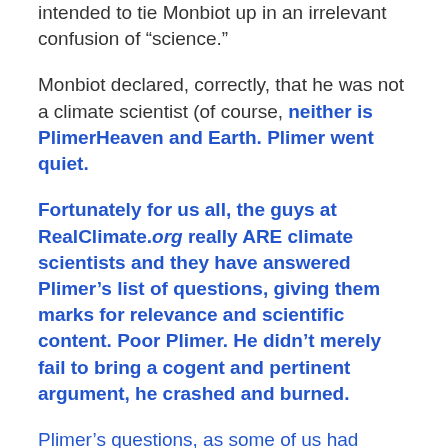intended to tie Monbiot up in an irrelevant confusion of “science.”
Monbiot declared, correctly, that he was not a climate scientist (of course, neither is PlimerHeaven and Earth. Plimer went quiet.
Fortunately for us all, the guys at RealClimate.org really ARE climate scientists and they have answered Plimer’s list of questions, giving them marks for relevance and scientific content. Poor Plimer. He didn’t merely fail to bring a cogent and pertinent argument, he crashed and burned.
Plimer’s questions, as some of us had suspected, didn’t add anything to the climate change conversation, scoring 23 out of 65 on relevance and, generally, somewhere between a D and an F on scientific content. The exceptions were a couple of